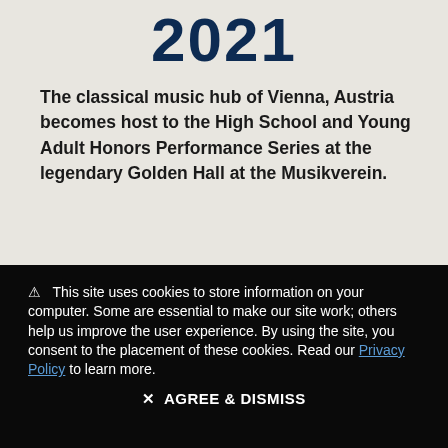2021
The classical music hub of Vienna, Austria becomes host to the High School and Young Adult Honors Performance Series at the legendary Golden Hall at the Musikverein.
⚠ This site uses cookies to store information on your computer. Some are essential to make our site work; others help us improve the user experience. By using the site, you consent to the placement of these cookies. Read our Privacy Policy to learn more.
✕ AGREE & DISMISS